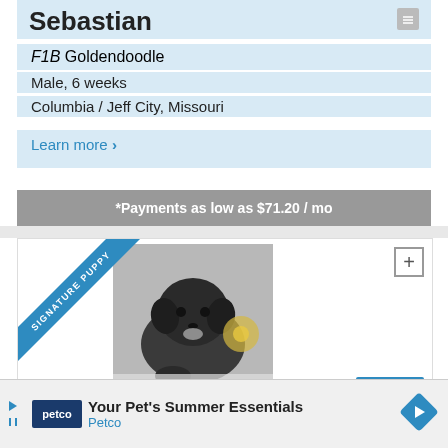Sebastian
F1B Goldendoodle
Male, 6 weeks
Columbia / Jeff City, Missouri
Learn more ›
*Payments as low as $71.20 / mo
[Figure (photo): Black curly-haired puppy (Goldendoodle) lying on white surface with a yellow stuffed animal, with SIGNATURE PUPPY ribbon and Featured badge]
Deli...
Your Pet's Summer Essentials Petco